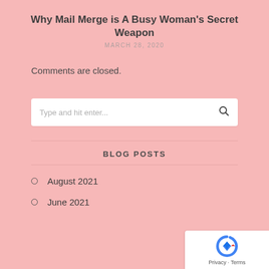Why Mail Merge is A Busy Woman’s Secret Weapon
MARCH 28, 2020
Comments are closed.
BLOG POSTS
August 2021
June 2021